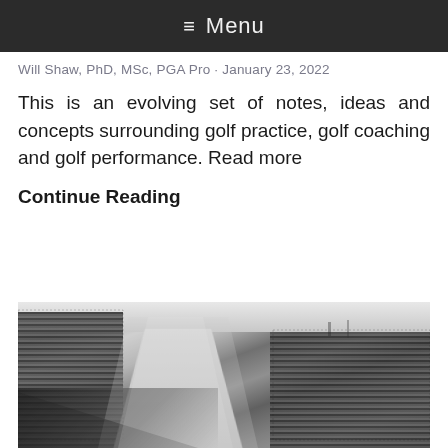≡ Menu
Will Shaw, PhD, MSc, PGA Pro · January 23, 2022
This is an evolving set of notes, ideas and concepts surrounding golf practice, golf coaching and golf performance. Read more
Continue Reading
[Figure (photo): Black and white photograph of a golf course with large crowds of spectators lining both sides of a fairway or path, aerial/elevated perspective showing the road/fairway cutting through the middle with galleries on each side.]